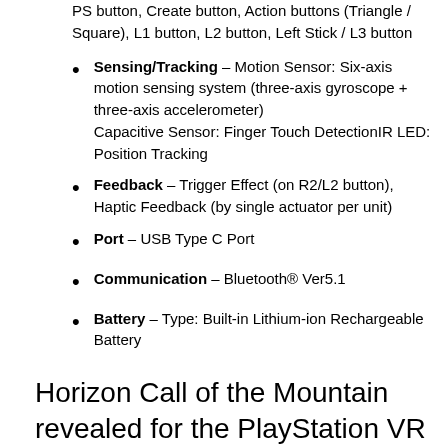PS button, Create button, Action buttons (Triangle / Square), L1 button, L2 button, Left Stick / L3 button
Sensing/Tracking – Motion Sensor: Six-axis motion sensing system (three-axis gyroscope + three-axis accelerometer) Capacitive Sensor: Finger Touch DetectionIR LED: Position Tracking
Feedback – Trigger Effect (on R2/L2 button), Haptic Feedback (by single actuator per unit)
Port – USB Type C Port
Communication – Bluetooth® Ver5.1
Battery – Type: Built-in Lithium-ion Rechargeable Battery
Horizon Call of the Mountain revealed for the PlayStation VR 2